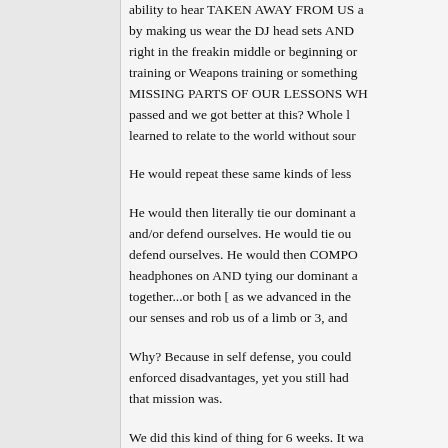ability to hear TAKEN AWAY FROM US a by making us wear the DJ head sets AND right in the freakin middle or beginning or training or Weapons training or something MISSING PARTS OF OUR LESSONS WH passed and we got better at this? Whole l learned to relate to the world without sour
He would repeat these same kinds of less
He would then literally tie our dominant a and/or defend ourselves. He would tie ou defend ourselves. He would then COMPO headphones on AND tying our dominant a together...or both [ as we advanced in the our senses and rob us of a limb or 3, and
Why? Because in self defense, you could enforced disadvantages, yet you still had that mission was.
We did this kind of thing for 6 weeks. It wa better human beings as a result of these e
Wakandans ARE AN ENTIRE CIVILIZATI HAS GONE THROUGH THIS TRAINING